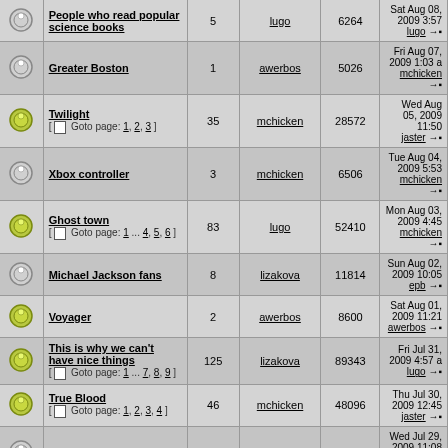|  | Topic | Replies | Author | Views | Last Post |
| --- | --- | --- | --- | --- | --- |
|  | People who read popular science books | 5 | lugo | 6264 | Sat Aug 08, 2009 3:57 lugo → |
|  | Greater Boston | 1 | awerbos | 5026 | Fri Aug 07, 2009 1:03 a mchicken → |
|  | Twilight [Goto page: 1, 2, 3] | 35 | mchicken | 28572 | Wed Aug 05, 2009 11:50 jaster → |
|  | Xbox controller | 3 | mchicken | 6506 | Tue Aug 04, 2009 5:53 mchicken → |
|  | Ghost town [Goto page: 1 ... 4, 5, 6] | 83 | lugo | 52410 | Mon Aug 03, 2009 4:45 mchicken → |
|  | Michael Jackson fans | 8 | lizakova | 11814 | Sun Aug 02, 2009 10:05 epb → |
|  | Voyager | 2 | awerbos | 8600 | Sat Aug 01, 2009 11:21 awerbos → |
|  | This is why we can't have nice things [Goto page: 1 ... 7, 8, 9] | 125 | lizakova | 89343 | Fri Jul 31, 2009 4:57 a lugo → |
|  | True Blood [Goto page: 1, 2, 3, 4] | 46 | mchicken | 48096 | Thu Jul 30, 2009 12:45 jaster → |
|  | User access | 2 | awerbos | 7837 | Wed Jul 29, 2009 11:08 mchicken → |
|  | The Grateful Dead |  |  |  | Sat Jul 25, 2009 8:00 |